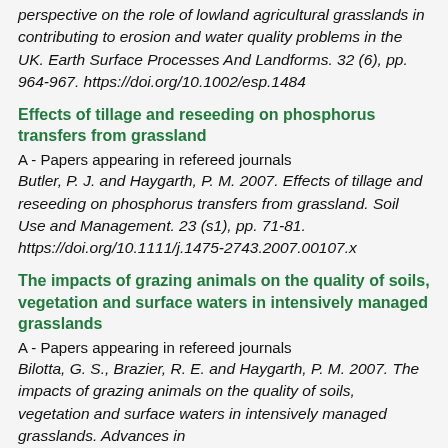perspective on the role of lowland agricultural grasslands in contributing to erosion and water quality problems in the UK. Earth Surface Processes And Landforms. 32 (6), pp. 964-967. https://doi.org/10.1002/esp.1484
Effects of tillage and reseeding on phosphorus transfers from grassland
A - Papers appearing in refereed journals
Butler, P. J. and Haygarth, P. M. 2007. Effects of tillage and reseeding on phosphorus transfers from grassland. Soil Use and Management. 23 (s1), pp. 71-81. https://doi.org/10.1111/j.1475-2743.2007.00107.x
The impacts of grazing animals on the quality of soils, vegetation and surface waters in intensively managed grasslands
A - Papers appearing in refereed journals
Bilotta, G. S., Brazier, R. E. and Haygarth, P. M. 2007. The impacts of grazing animals on the quality of soils, vegetation and surface waters in intensively managed grasslands. Advances in